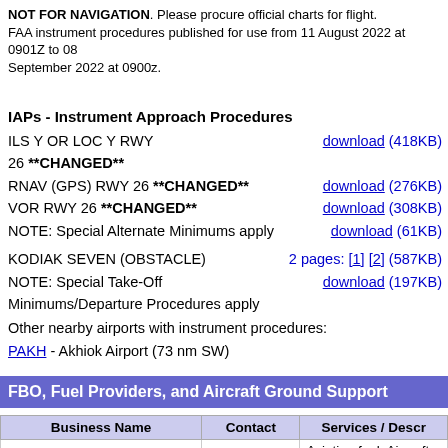NOT FOR NAVIGATION. Please procure official charts for flight. FAA instrument procedures published for use from 11 August 2022 at 0901Z to 08 September 2022 at 0900z.
IAPs - Instrument Approach Procedures
ILS Y OR LOC Y RWY 26 **CHANGED**  download (418KB)
RNAV (GPS) RWY 26 **CHANGED**  download (276KB)
VOR RWY 26 **CHANGED**  download (308KB)
NOTE: Special Alternate Minimums apply  download (61KB)
KODIAK SEVEN (OBSTACLE)  2 pages: [1] [2] (587KB)
NOTE: Special Take-Off Minimums/Departure Procedures apply  download (197KB)
Other nearby airports with instrument procedures:
PAKH - Akhiok Airport (73 nm SW)
FBO, Fuel Providers, and Aircraft Ground Support
| Business Name | Contact | Services / Description |
| --- | --- | --- |
|  |  | Aviation fuel, Aircraft handling, Aircraft pa... |